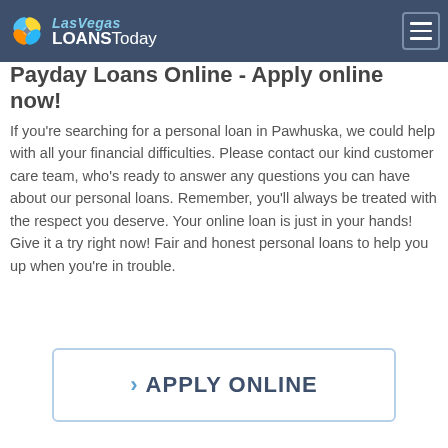Las Vegas LOANSToday
Payday Loans Online - Apply online now!
If you're searching for a personal loan in Pawhuska, we could help with all your financial difficulties. Please contact our kind customer care team, who's ready to answer any questions you can have about our personal loans. Remember, you'll always be treated with the respect you deserve. Your online loan is just in your hands! Give it a try right now! Fair and honest personal loans to help you up when you're in trouble.
› APPLY ONLINE